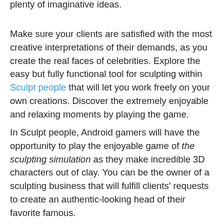plenty of imaginative ideas.
Make sure your clients are satisfied with the most creative interpretations of their demands, as you create the real faces of celebrities. Explore the easy but fully functional tool for sculpting within Sculpt people that will let you work freely on your own creations. Discover the extremely enjoyable and relaxing moments by playing the game.
In Sculpt people, Android gamers will have the opportunity to play the enjoyable game of the sculpting simulation as they make incredible 3D characters out of clay. You can be the owner of a sculpting business that will fulfill clients' requests to create an authentic-looking head of their favorite famous.